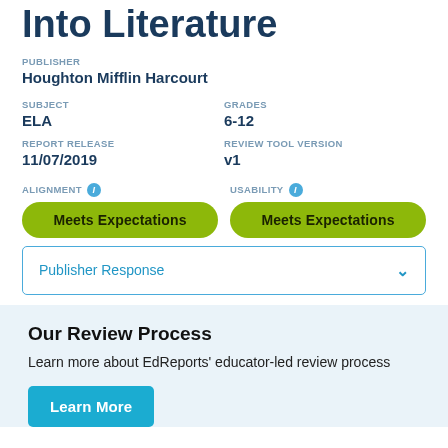Into Literature
PUBLISHER
Houghton Mifflin Harcourt
SUBJECT
ELA
GRADES
6-12
REPORT RELEASE
11/07/2019
REVIEW TOOL VERSION
v1
ALIGNMENT
Meets Expectations
USABILITY
Meets Expectations
Publisher Response
Our Review Process
Learn more about EdReports' educator-led review process
Learn More